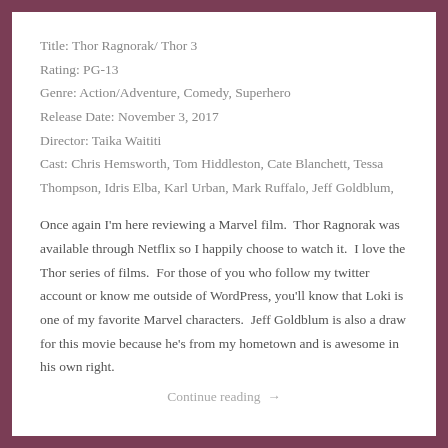Title: Thor Ragnorak/ Thor 3
Rating: PG-13
Genre: Action/Adventure, Comedy, Superhero
Release Date: November 3, 2017
Director: Taika Waititi
Cast: Chris Hemsworth, Tom Hiddleston, Cate Blanchett, Tessa Thompson, Idris Elba, Karl Urban, Mark Ruffalo, Jeff Goldblum,
Once again I'm here reviewing a Marvel film.  Thor Ragnorak was available through Netflix so I happily choose to watch it.  I love the Thor series of films.  For those of you who follow my twitter account or know me outside of WordPress, you'll know that Loki is one of my favorite Marvel characters.  Jeff Goldblum is also a draw for this movie because he's from my hometown and is awesome in his own right.
Continue reading →